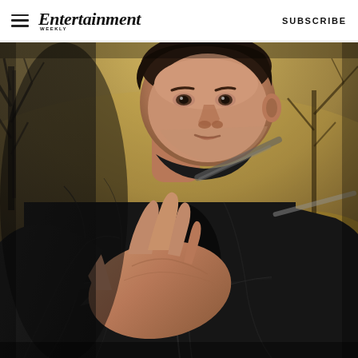Entertainment Weekly | SUBSCRIBE
[Figure (photo): A man in a dark leather jacket reaching forward with his hand outstretched, set against a stylized golden/green savanna landscape background with bare trees. Action movie or TV show promotional photo.]